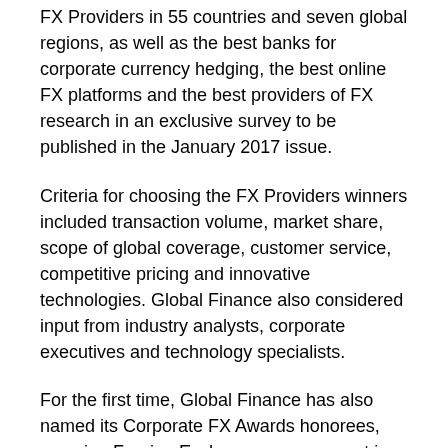FX Providers in 55 countries and seven global regions, as well as the best banks for corporate currency hedging, the best online FX platforms and the best providers of FX research in an exclusive survey to be published in the January 2017 issue.
Criteria for choosing the FX Providers winners included transaction volume, market share, scope of global coverage, customer service, competitive pricing and innovative technologies. Global Finance also considered input from industry analysts, corporate executives and technology specialists.
For the first time, Global Finance has also named its Corporate FX Awards honorees, covering Foreign Exchange management in four global and seven regional categories.
Criteria for the Corporate FX Awards included clearly defined risk management policies, handling of crisis situations, measurement of FX exposure, and cost of hedging. The main objective of FX risk management is to